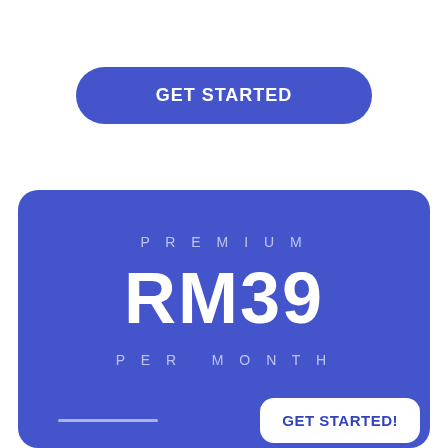[Figure (screenshot): A blue rounded button labeled GET STARTED on a white background]
[Figure (screenshot): A blue card showing PREMIUM plan at RM39 PER MONTH with a GET STARTED! button]